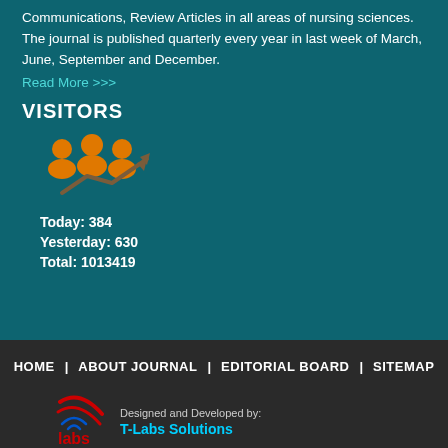Communications, Review Articles in all areas of nursing sciences. The journal is published quarterly every year in last week of March, June, September and December.
Read More >>>
VISITORS
[Figure (infographic): Orange icon of three people with an upward trending arrow, representing visitor growth]
Today: 384
Yesterday: 630
Total: 1013419
HOME | ABOUT JOURNAL | EDITORIAL BOARD | SITEMAP
[Figure (logo): T-Labs Solutions logo with red and blue swoosh]
Designed and Developed by: T-Labs Solutions